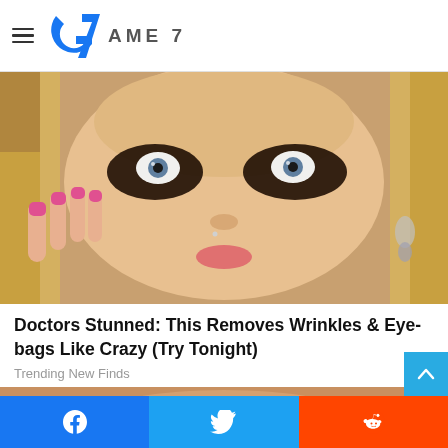≡ GAME 7
[Figure (photo): Close-up photo of a blonde woman with dark eye makeup/coffee grounds under her eyes, touching her face with pink manicured nails, wearing dangling earrings]
Doctors Stunned: This Removes Wrinkles & Eye-bags Like Crazy (Try Tonight)
Trending New Finds
[Figure (photo): Partial view of a second article image at the bottom of the page]
[Figure (infographic): Social share bar with Facebook, Twitter, and Reddit buttons at the bottom of the page]